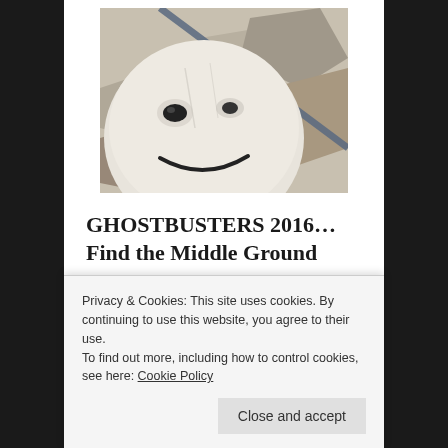[Figure (photo): Close-up photo of a ghost/mask face with painted eyes and smile, surrounded by broken concrete or rubble, with a diagonal rod or bar visible]
GHOSTBUSTERS 2016… Find the Middle Ground
There is no sense in burying the lead; Ghostbusters 2016 was an “OK” flick. I’m not one of the hosts of haters that heaved seemingly endless slurs on the movie and its cast before it even opened. This 2016
Privacy & Cookies: This site uses cookies. By continuing to use this website, you agree to their use.
To find out more, including how to control cookies, see here: Cookie Policy
Close and accept